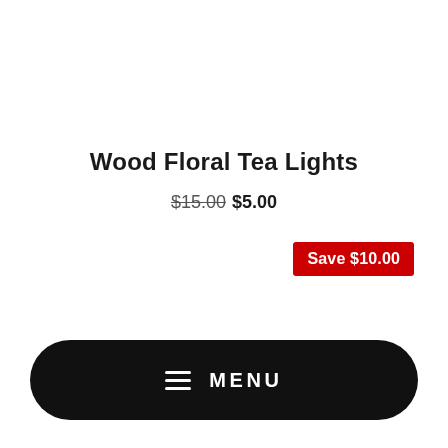Wood Floral Tea Lights
$15.00  $5.00
Save $10.00
MENU